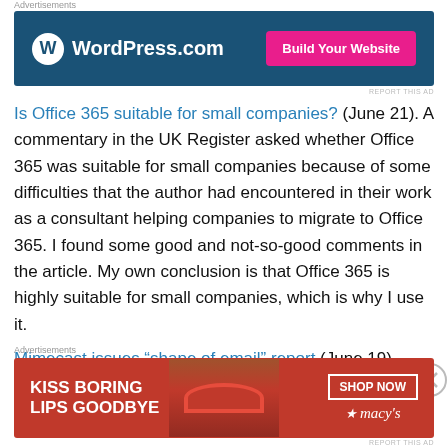Advertisements
[Figure (illustration): WordPress.com advertisement banner with dark blue background, WordPress logo and 'Build Your Website' pink button]
Is Office 365 suitable for small companies? (June 21). A commentary in the UK Register asked whether Office 365 was suitable for small companies because of some difficulties that the author had encountered in their work as a consultant helping companies to migrate to Office 365. I found some good and not-so-good comments in the article. My own conclusion is that Office 365 is highly suitable for small companies, which is why I use it.
Mimecast issues “shape of email” report (June 19). Mimecast is a very reputable company working in the
Advertisements
[Figure (illustration): Macy's advertisement banner with red background, 'KISS BORING LIPS GOODBYE' text, woman's face, and 'SHOP NOW' button with Macy's logo]